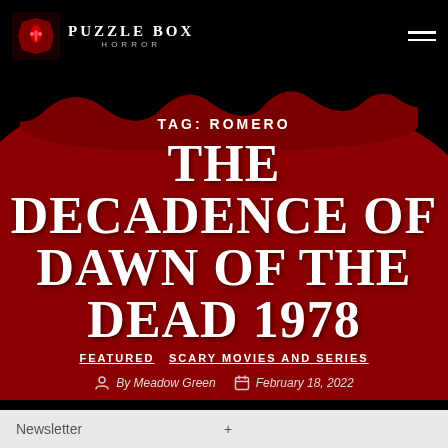Puzzle Box Horror
TAG: ROMERO
THE DECADENCE OF DAWN OF THE DEAD 1978
FEATURED  SCARY MOVIES AND SERIES
By Meadow Green   February 18, 2022
Newsletter